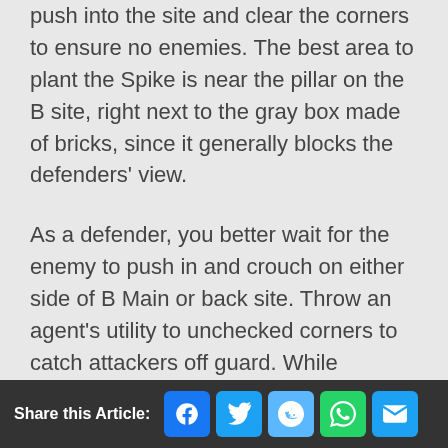push into the site and clear the corners to ensure no enemies. The best area to plant the Spike is near the pillar on the B site, right next to the gray box made of bricks, since it generally blocks the defenders' view.
As a defender, you better wait for the enemy to push in and crouch on either side of B Main or back site. Throw an agent's utility to unchecked corners to catch attackers off guard. While defusing, focus on checking B Main, B Window, or the black brick pillars throughout the side for remaining
Share this Article: